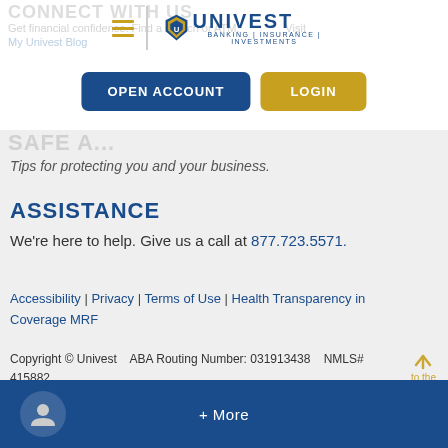[Figure (logo): Univest logo with shield icon and tagline BANKING | INSURANCE | INVESTMENTS, with hamburger menu icon to the left]
CONNECT WITH US
Get financial confidence. Find a branch or ATM. Space for Visit My Univest Blog.
OPEN ACCOUNT
LOGIN
SAFE A...
Tips for protecting you and your business.
ASSISTANCE
We're here to help. Give us a call at 877.723.5571.
Accessibility | Privacy | Terms of Use | Health Transparency in Coverage MRF
Copyright © Univest    ABA Routing Number: 031913438    NMLS# 415882
Member FDIC    Equal Housing, Opportunity, and SBA Preferred Lender
+ More